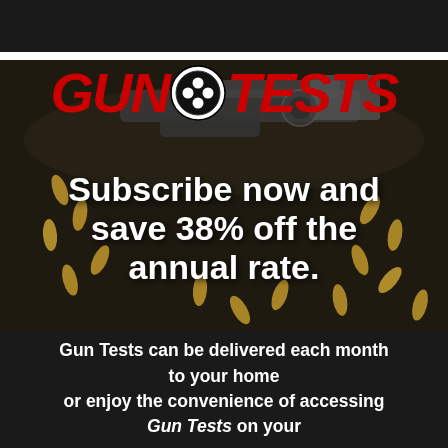[Figure (logo): Gun Tests magazine logo with red bold italic text 'GUN' and 'TESTS' flanking a circular target/crosshair icon with four white dots on black background]
[Figure (photo): Dark background photo showing a handgun and scattered brass bullet casings on a dark surface]
Subscribe now and save 38% off the annual rate.
Gun Tests can be delivered each month to your home or enjoy the convenience of accessing Gun Tests on your